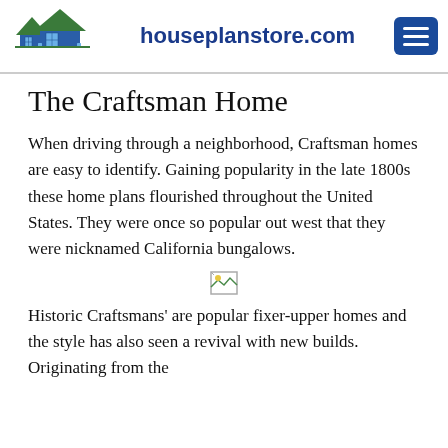houseplanstore.com
The Craftsman Home
When driving through a neighborhood, Craftsman homes are easy to identify. Gaining popularity in the late 1800s these home plans flourished throughout the United States. They were once so popular out west that they were nicknamed California bungalows.
[Figure (photo): Broken image placeholder]
Historic Craftsmans' are popular fixer-upper homes and the style has also seen a revival with new builds. Originating from the